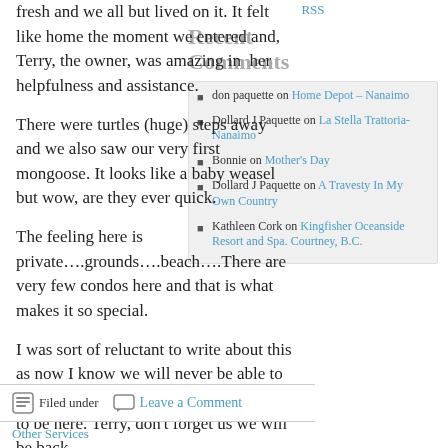fresh and we all but lived on it. It felt like home the moment we entered and, Terry, the owner, was amazing in  her helpfulness and assistance.
There were turtles (huge) steps away and we also saw our very first mongoose. It looks like a baby weasel but wow, are they ever quick.
The feeling here is private….grounds….beach….There are very few condos here and that is what makes it so special.
I was sort of reluctant to write about this as now I know we will never be able to get in again because everyone will want to be here. Terry, don't forget us we will be back.
RSS
Recent Comments
don paquette on Home Depot – Nanaimo
Dollard J Paquette on La Stella Trattoria-Nanaimo
Bonnie on Mother's Day
Dollard J Paquette on A Travesty In My Own Country
Kathleen Cork on Kingfisher Oceanside Resort and Spa. Courtney, B.C.
Filed under  Leave a Comment  Other Services